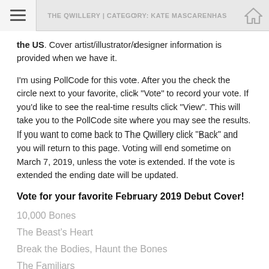THE QWILLERY | CATEGORY: KATE MASCARENHAS
the US. Cover artist/illustrator/designer information is provided when we have it.
I'm using PollCode for this vote. After you the check the circle next to your favorite, click "Vote" to record your vote. If you'd like to see the real-time results click "View". This will take you to the PollCode site where you may see the results. If you want to come back to The Qwillery click "Back" and you will return to this page. Voting will end sometime on March 7, 2019, unless the vote is extended. If the vote is extended the ending date will be updated.
Vote for your favorite February 2019 Debut Cover!
10,000 Bones
The Beast's Heart
Break the Bodies, Haunt the Bones
The Familiars